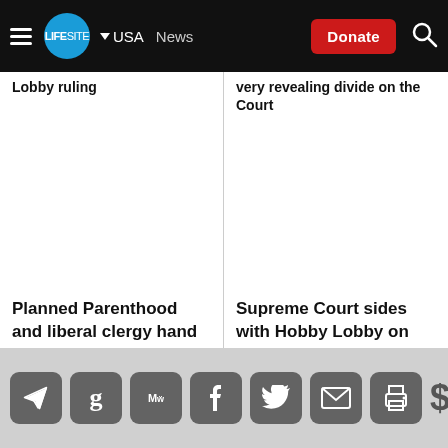LifeSite | USA | News | Donate
Lobby ruling
very revealing divide on the Court
Planned Parenthood and liberal clergy hand out condoms in front of Hobby Lobby store
Supreme Court sides with Hobby Lobby on HHS mandate in 5-4 decision
Social share icons: Telegram, Goodreads, MeWe, Facebook, Twitter, Email, Print, Donate